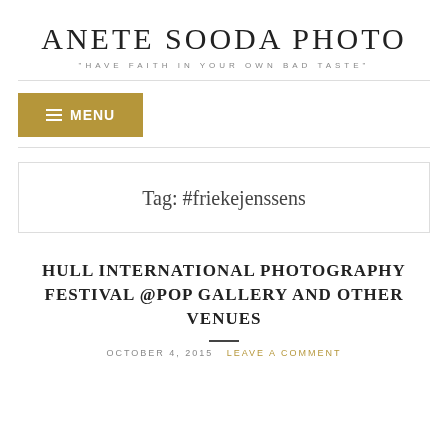ANETE SOODA PHOTO
"HAVE FAITH IN YOUR OWN BAD TASTE"
[Figure (other): Menu button with hamburger icon, gold/olive background, white text reading MENU]
Tag: #friekejenssens
HULL INTERNATIONAL PHOTOGRAPHY FESTIVAL @POP GALLERY AND OTHER VENUES
OCTOBER 4, 2015  LEAVE A COMMENT